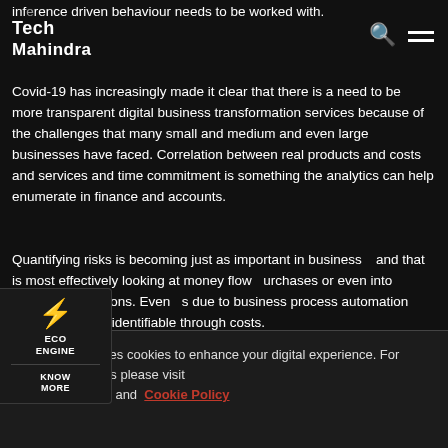Tech Mahindra
inference driven behaviour needs to be worked with.
Covid-19 has increasingly made it clear that there is a need to be more transparent digital business transformation services because of the challenges that many small and medium and even large businesses have faced. Correlation between real products and costs and services and time commitment is something the analytics can help enumerate in finance and accounts.
Quantifying risks is becoming just as important in business y and that is most effectively looking at money flow purchases or even into business operations. Even gs due to business process automation and formation is identifiable through costs.
[Figure (infographic): ECO ENGINE widget with lightning bolt icon and KNOW MORE button]
This website uses cookies to enhance your digital experience. For additional details please visit Privacy Policy and Cookie Policy